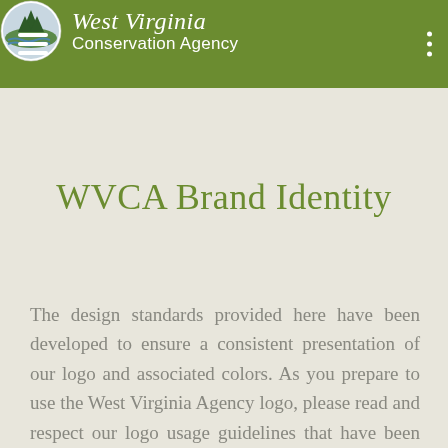West Virginia Conservation Agency
WVCA Brand Identity
The design standards provided here have been developed to ensure a consistent presentation of our logo and associated colors. As you prepare to use the West Virginia Agency logo, please read and respect our logo usage guidelines that have been established to maintain and standardize our brand identity.